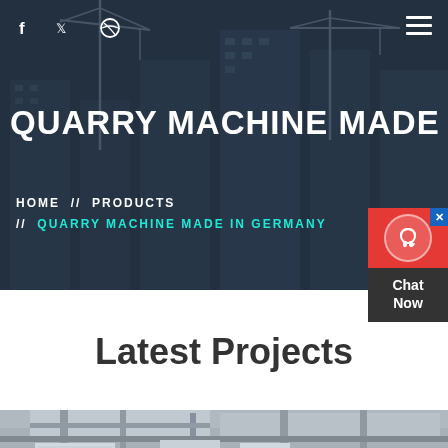[Figure (photo): Hero background: construction site with cranes and large buildings under a dark blue-gray overlay]
f  Twitter  Dribbble  [hamburger menu]
QUARRY MACHINE MADE IN GER
HOME  //  PRODUCTS  //  QUARRY MACHINE MADE IN GERMANY
[Figure (other): Live chat widget: red box with headset icon and 'Chat Now' text on dark background]
Latest Projects
[Figure (photo): Partial view of a quarry machine or industrial equipment at a construction site]